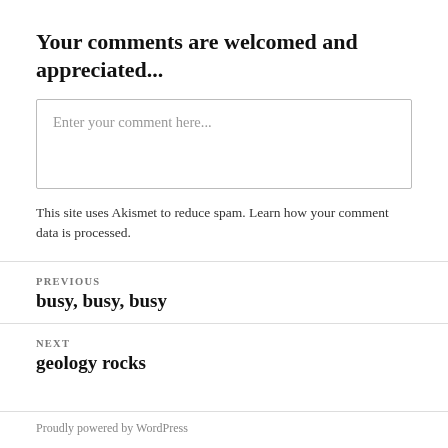Your comments are welcomed and appreciated...
Enter your comment here...
This site uses Akismet to reduce spam. Learn how your comment data is processed.
PREVIOUS
busy, busy, busy
NEXT
geology rocks
Proudly powered by WordPress